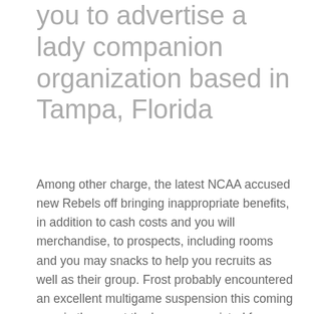you to advertise a lady companion organization based in Tampa, Florida
Among other charge, the latest NCAA accused new Rebels off bringing inappropriate benefits, in addition to cash costs and you will merchandise, to prospects, including rooms and you may snacks to help you recruits as well as their group. Frost probably encountered an excellent multigame suspension this coming year in the event the he was convicted from neglecting to display their teams.
The newest Rebels are expected to appear before the NCAA Panel into the Infringements in Indianapolis later on come july 1st, maybe for the Sep.
The other day, Nutt charged Frost and you may Ole Skip for